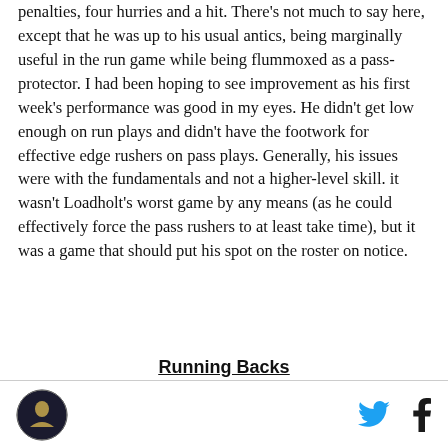penalties, four hurries and a hit. There's not much to say here, except that he was up to his usual antics, being marginally useful in the run game while being flummoxed as a pass-protector. I had been hoping to see improvement as his first week's performance was good in my eyes. He didn't get low enough on run plays and didn't have the footwork for effective edge rushers on pass plays. Generally, his issues were with the fundamentals and not a higher-level skill. it wasn't Loadholt's worst game by any means (as he could effectively force the pass rushers to at least take time), but it was a game that should put his spot on the roster on notice.
Running Backs
Logo and social icons